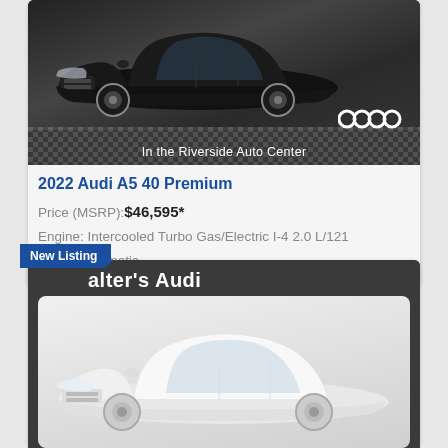[Figure (photo): Black 2022 Audi A5 car photographed from front-left angle in a dealership showroom with checkered floor. Audi four-ring logo visible bottom right. Text reads 'In the Riverside Auto Center'.]
2022 Audi A5 40 Premium
Price (MSRP): $46,595*
Engine: Intercooled Turbo Gas/Electric I-4 2.0 L/121
Trans: Automatic
[Figure (photo): White Audi sedan photographed from front-left angle against white background. Dealership header shows "Walter's Audi" on dark gray background. New Listing badge in top-left corner.]